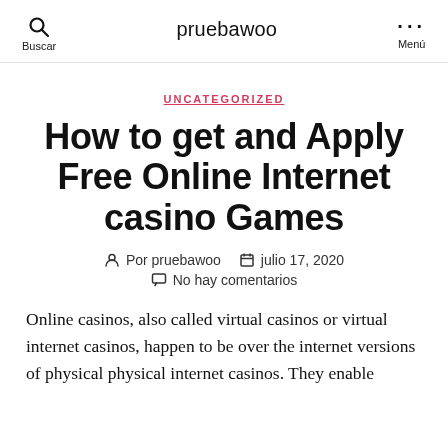pruebawoo
UNCATEGORIZED
How to get and Apply Free Online Internet casino Games
Por pruebawoo  julio 17, 2020  No hay comentarios
Online casinos, also called virtual casinos or virtual internet casinos, happen to be over the internet versions of physical physical internet casinos. They enable